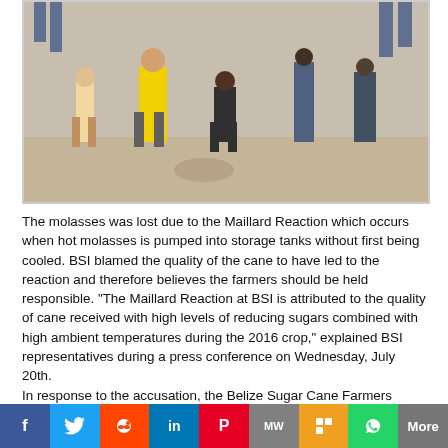[Figure (photo): Outdoor scene showing people standing on a dirt/gravel road or field. One person is wearing a yellow shirt. Others are visible in the background. The ground is sandy/dusty.]
The molasses was lost due to the Maillard Reaction which occurs when hot molasses is pumped into storage tanks without first being cooled. BSI blamed the quality of the cane to have led to the reaction and therefore believes the farmers should be held responsible. “The Maillard Reaction at BSI is attributed to the quality of cane received with high levels of reducing sugars combined with high ambient temperatures during the 2016 crop,” explained BSI representatives during a press conference on Wednesday, July 20th.
In response to the accusation, the Belize Sugar Cane Farmers Association (BSCFA), indicated that laboratory test results showed that the quality of cane delivered by cane farmers during the 2010/2016 crop season met the necessary quality parameters. “In plain and simple terms, the cause of the Maillard effect cannot be attributed to the quality of cane,” responded BSCFA. They also stated that this loss should be incurred completely by BSI as their commercial agreement with the
[Figure (infographic): Social media share button bar with icons for Facebook, Twitter, Reddit, LinkedIn, Pinterest, MW, Mix, WhatsApp, and More.]